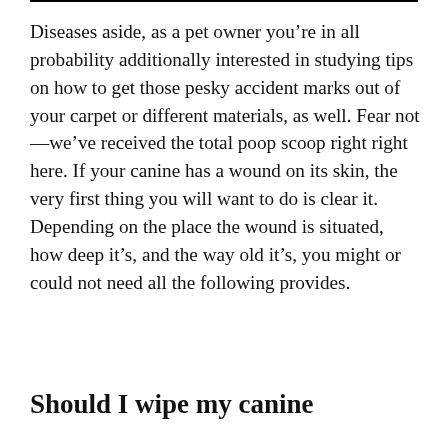Diseases aside, as a pet owner you're in all probability additionally interested in studying tips on how to get those pesky accident marks out of your carpet or different materials, as well. Fear not—we've received the total poop scoop right right here. If your canine has a wound on its skin, the very first thing you will want to do is clear it. Depending on the place the wound is situated, how deep it's, and the way old it's, you might or could not need all the following provides.
Should I wipe my canine